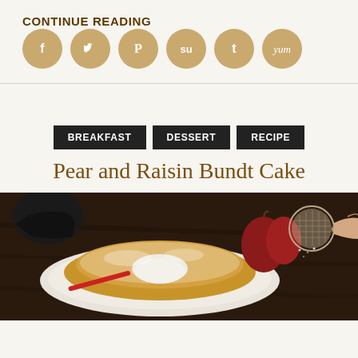CONTINUE READING
[Figure (illustration): Six social media share buttons as golden circles: Facebook, Twitter, Pinterest, StumbleUpon, Tumblr, Yummly]
BREAKFAST   DESSERT   RECIPE
Pear and Raisin Bundt Cake
[Figure (photo): A Bundt cake dusted with powdered sugar on a white plate, with red pears in the background and a hand holding a sieve on a dark wooden table.]